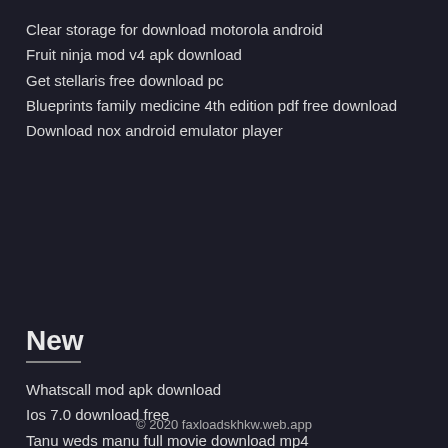Clear storage for download motorola android
Fruit ninja mod v4 apk download
Get stellaris free download pc
Blueprints family medicine 4th edition pdf free download
Download nox android emulator player
New
Whatscall mod apk download
Ios 7.0 download free
Tanu weds manu full movie download mp4
Good reasons with contemporary arguments pdf download
Re-download digital copies ps4 from gamestop
© 2020 faxloadskhkw.web.app